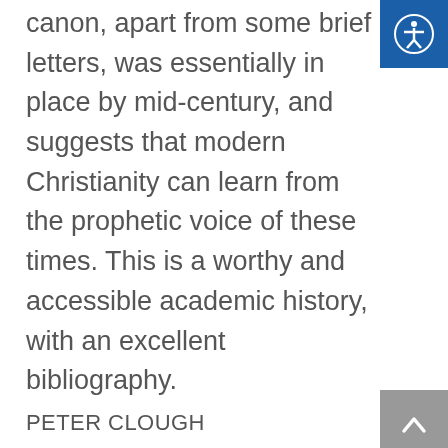canon, apart from some brief letters, was essentially in place by mid-century, and suggests that modern Christianity can learn from the prophetic voice of these times. This is a worthy and accessible academic history, with an excellent bibliography.
PETER CLOUGH
History, Patristics